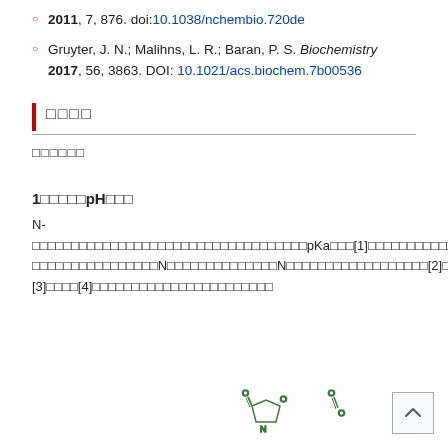2011, 7, 876. doi:10.1038/nchembio.720de
Gruyter, J. N.; Malihns, L. R.; Baran, P. S. Biochemistry 2017, 56, 3863. DOI: 10.1021/acs.biochem.7b00536
□□□□
□□□□□□
1□□□□□pH□□□
N-□□□□□□□□□□□□□□□□□□□□□□□□□□□□□□□□□□□pKa□□□[1]□□□□□□□□□□□□□□□□□pH□□□□□□□□□□□□□□□□N□□□□□□□□□□□□□□N□□□□□□□□□□□□□□□□□□[2]□□□□[3]□□□□[4]□□□□□□□□□□□□□□□□□□□□□□□
[Figure (illustration): Partial chemical structure diagram showing organic molecules at the bottom of the page]